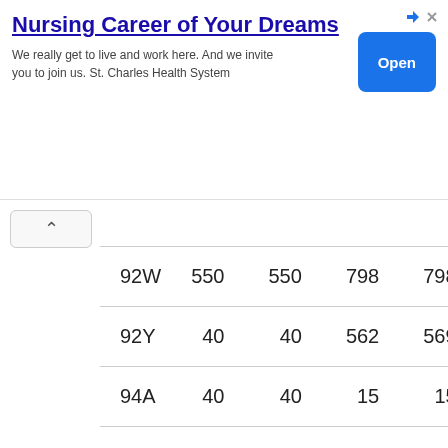[Figure (other): Advertisement banner for nursing career at St. Charles Health System with blue title text, body text, and an 'Open' button]
| 92W | 550 | 550 | 798 | 798 |
| 92Y | 40 | 40 | 562 | 569 |
| 94A | 40 | 40 | 15 | 15 |
| 94D | 798 | 798 | 798 | 798 |
| 94E | 491 | 529 | 459 | 459 |
| 94F | 798 | 798 | 798 | 798 |